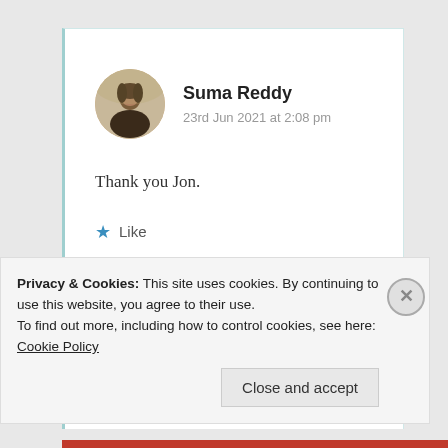[Figure (photo): Circular avatar photo of Suma Reddy, a woman with dark hair against a blurred background]
Suma Reddy
23rd Jun 2021 at 2:08 pm
Thank you Jon.
★ Like
Log in to Reply
Privacy & Cookies: This site uses cookies. By continuing to use this website, you agree to their use.
To find out more, including how to control cookies, see here: Cookie Policy
Close and accept